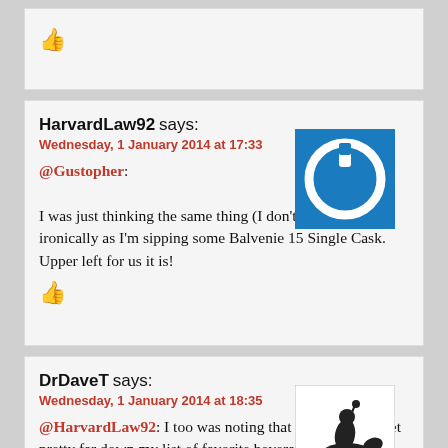[Figure (illustration): Thumbs up icon in red]
HarvardLaw92 says:
Wednesday, 1 January 2014 at 17:33
@Gustopher:
I was just thinking the same thing (I don't see me at all), ironically as I'm sipping some Balvenie 15 Single Cask. Upper left for us it is!
[Figure (illustration): Blue square with white power button icon - avatar for HarvardLaw92]
[Figure (illustration): Thumbs up icon in red]
DrDaveT says:
Wednesday, 1 January 2014 at 18:35
@HarvardLaw92: I too was noting that you'd have to get pretty far down my list of favorite beverages to find something on this chart.
[Figure (illustration): Black and white illustration of a knight on horseback - avatar for DrDaveT]